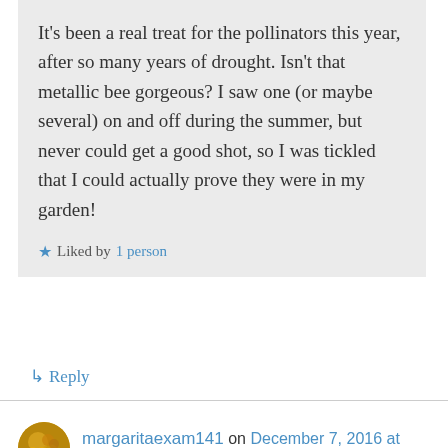It's been a real treat for the pollinators this year, after so many years of drought. Isn't that metallic bee gorgeous? I saw one (or maybe several) on and off during the summer, but never could get a good shot, so I was tickled that I could actually prove they were in my garden!
★ Liked by 1 person
↳ Reply
margaritaexam141 on December 7, 2016 at 1:42 pm
Tina I love all the butterflies, the bees, the beetles, the flowers and my dear lizard anolis: they are all wonderful. I really liked the orange